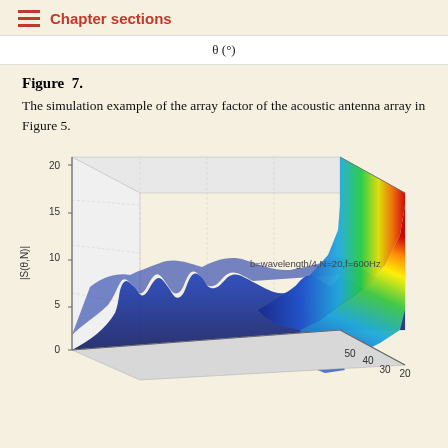Chapter sections
θ (°)
Figure 7.
The simulation example of the array factor of the acoustic antenna array in Figure 5.
[Figure (continuous-plot): 3D surface plot of array factor |S(θ,N)| vs θ and N. The surface shows a dominant peak in the upper right (rainbow colored, red at top) reaching about 20, with lower blue ripples on the left side. Label: b=wavelength/4, N=20, f=600Hz. Y-axis: |S(θ,N)| from 0 to 20. X-axes show values up to 50 and 30.]